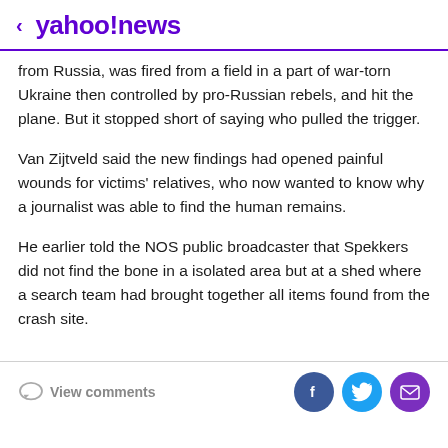< yahoo!news
from Russia, was fired from a field in a part of war-torn Ukraine then controlled by pro-Russian rebels, and hit the plane. But it stopped short of saying who pulled the trigger.
Van Zijtveld said the new findings had opened painful wounds for victims' relatives, who now wanted to know why a journalist was able to find the human remains.
He earlier told the NOS public broadcaster that Spekkers did not find the bone in a isolated area but at a shed where a search team had brought together all items found from the crash site.
View comments